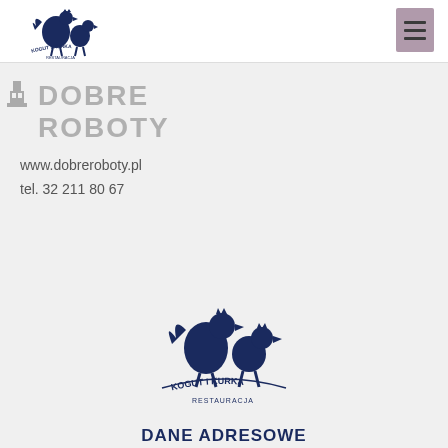[Figure (logo): Kogut i Kurka Restauracja logo - two roosters/chickens silhouette in dark navy blue with text in an arch below, small version in top-left header]
[Figure (logo): Dobre Roboty logo - pixelated/retro style gray text with building icon to the left, reading DOBRE ROBOTY]
www.dobreroboty.pl
tel. 32 211 80 67
[Figure (logo): Kogut i Kurka Restauracja logo - large centered version with two roosters in dark navy blue, text KOGUT I KURKA in arch and RESTAURACJA beneath]
DANE ADRESOWE